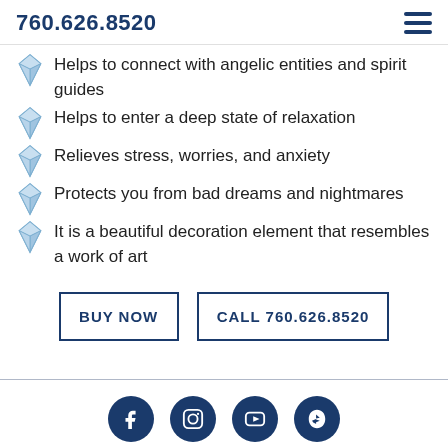760.626.8520
Helps to connect with angelic entities and spirit guides
Helps to enter a deep state of relaxation
Relieves stress, worries, and anxiety
Protects you from bad dreams and nightmares
It is a beautiful decoration element that resembles a work of art
BUY NOW
CALL 760.626.8520
[Figure (other): Social media icons: Facebook, Instagram, YouTube, Yelp]